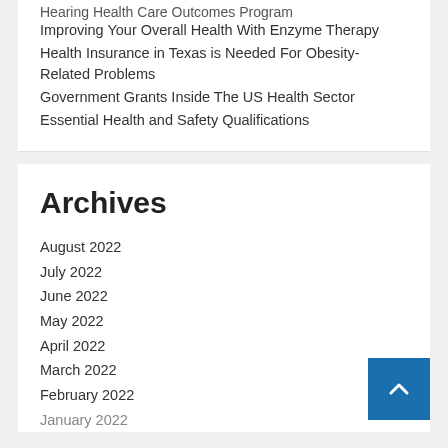Hearing Health Care Outcomes Program
Improving Your Overall Health With Enzyme Therapy
Health Insurance in Texas is Needed For Obesity-Related Problems
Government Grants Inside The US Health Sector
Essential Health and Safety Qualifications
Archives
August 2022
July 2022
June 2022
May 2022
April 2022
March 2022
February 2022
January 2022